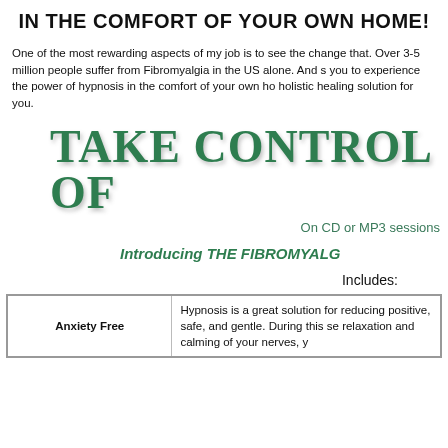IN THE COMFORT OF YOUR OWN HOME!
One of the most rewarding aspects of my job is to see the change that. Over 3-5 million people suffer from Fibromyalgia in the US alone. And s you to experience the power of hypnosis in the comfort of your own ho holistic healing solution for you.
[Figure (other): Large stylized green bold text reading 'TAKE CONTROL OF']
On CD or MP3 sessions
Introducing THE FIBROMYALG
Includes:
| Anxiety Free | Hypnosis is a great solution for reducing positive, safe, and gentle. During this se relaxation and calming of your nerves, y |